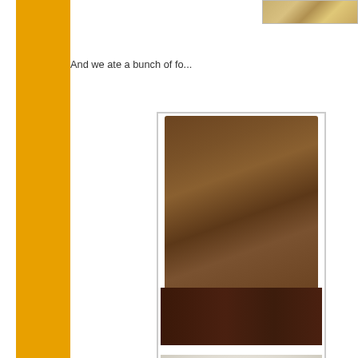[Figure (photo): Partial photo of food visible at top right corner]
And we ate a bunch of fo...
[Figure (photo): Photo of a plate with a burger on dark rye/whole grain bread and fried food pieces on a white plate]
Although the evening was... presentation about recent... and various action alerts ...
Overall, it was a gorgeous... Stewardship Project if you...